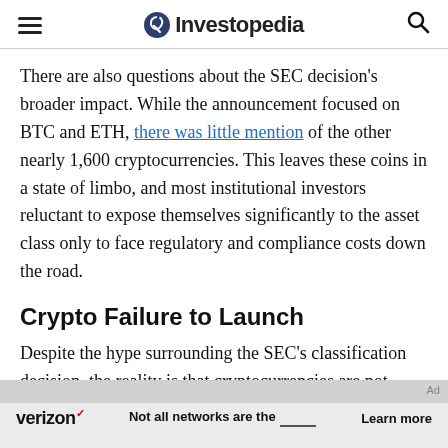Investopedia
There are also questions about the SEC decision's broader impact. While the announcement focused on BTC and ETH, there was little mention of the other nearly 1,600 cryptocurrencies. This leaves these coins in a state of limbo, and most institutional investors reluctant to expose themselves significantly to the asset class only to face regulatory and compliance costs down the road.
Crypto Failure to Launch
Despite the hype surrounding the SEC's classification decision, the reality is that cryptocurrencies are not likely to see a thaw from akin to 2017's price action